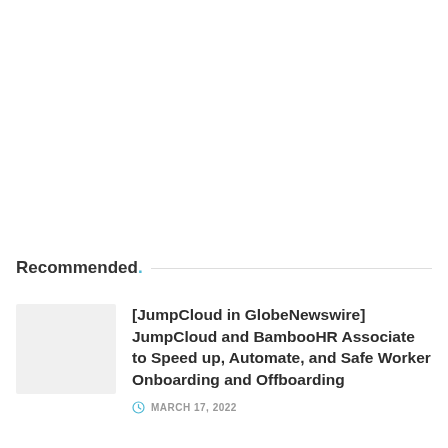Recommended.
[JumpCloud in GlobeNewswire] JumpCloud and BambooHR Associate to Speed up, Automate, and Safe Worker Onboarding and Offboarding
MARCH 17, 2022